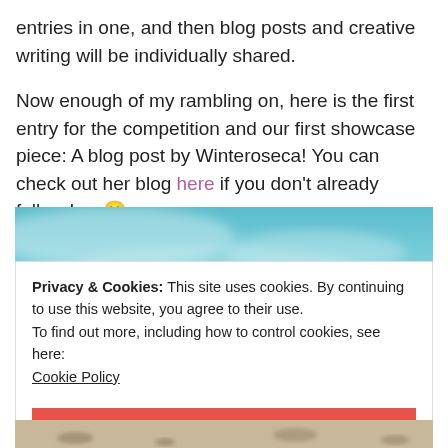entries in one, and then blog posts and creative writing will be individually shared.
Now enough of my rambling on, here is the first entry for the competition and our first showcase piece: A blog post by Winteroseca! You can check out her blog here if you don't already follow her 🙂
[Figure (photo): Blurred teal/blue sky background image]
Privacy & Cookies: This site uses cookies. By continuing to use this website, you agree to their use.
To find out more, including how to control cookies, see here:
Cookie Policy
CLOSE AND ACCEPT
[Figure (photo): Sandy beach surface at bottom of page]